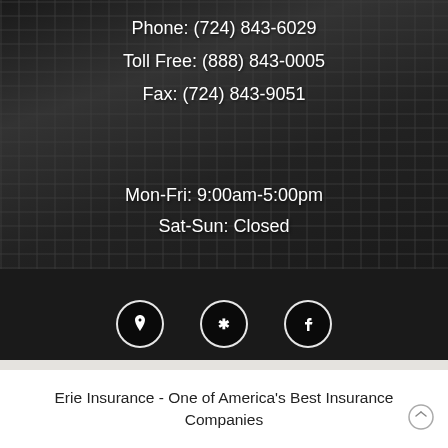Phone: (724) 843-6029
Toll Free: (888) 843-0005
Fax: (724) 843-9051
Mon-Fri: 9:00am-5:00pm
Sat-Sun: Closed
[Figure (map): Google Maps embedded map showing location near 51st St, Rochester Rd, 40th Ave area with streets including Lynn Dr, Rayz St, Woods Dr, Craig St, Russell, 47th St, 37th Ave. A red location pin is visible near 51st St.]
Erie Insurance - One of America's Best Insurance Companies